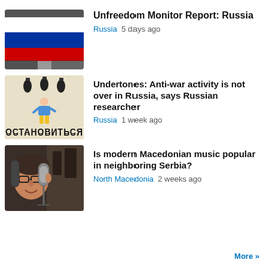[Figure (photo): Russian flag – white, blue, red horizontal stripes with dark background overlay at bottom]
Unfreedom Monitor Report: Russia
Russia  5 days ago
[Figure (illustration): Anti-war drawing on beige background showing bombs falling on a person, with Russian text 'Остановиться' at bottom]
Undertones: Anti-war activity is not over in Russia, says Russian researcher
Russia  1 week ago
[Figure (photo): Woman with glasses in front of radio microphone in a studio]
Is modern Macedonian music popular in neighboring Serbia?
North Macedonia  2 weeks ago
More »